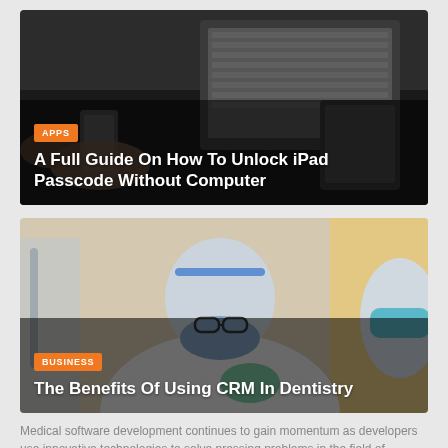[Figure (photo): Person using smartphone with laptop and tablet on desk, top-down view]
A Full Guide On How To Unlock iPad Passcode Without Computer
[Figure (photo): Dentist wearing face shield and mask performing dental procedure on patient, another masked person visible]
The Benefits Of Using CRM In Dentistry
Medical software development continues to gain momentum as developers use innovative technologies to solve pressing problems in the field of healthcar ...